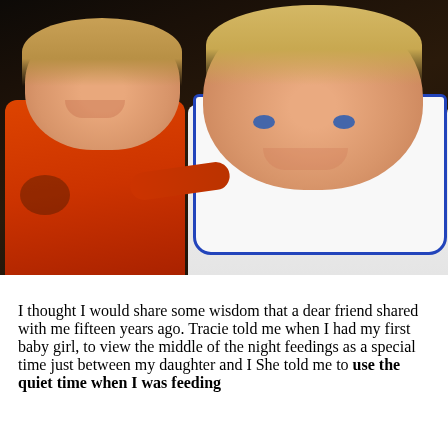[Figure (photo): Photo of two young children sitting together. On the left is an older child with blonde hair wearing an orange shirt with dark print, smiling broadly. On the right is a baby with blonde hair and blue eyes, wearing a white bib with blue trim, also smiling. The background is dark brown, possibly a leather couch.]
I thought I would share some wisdom that a dear friend shared with me fifteen years ago.  Tracie told me when I had my first baby girl, to view the middle of the night feedings as a special time just between my daughter and I  She told me to use the quiet time when I was feeding